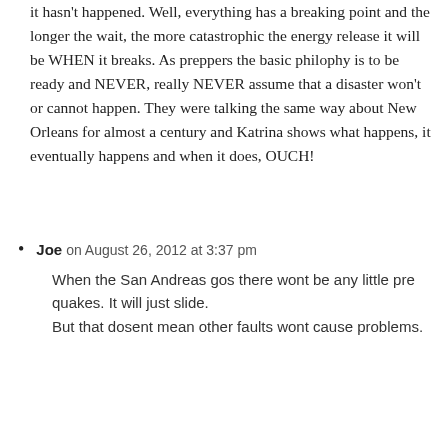it hasn't happened. Well, everything has a breaking point and the longer the wait, the more catastrophic the energy release it will be WHEN it breaks. As preppers the basic philophy is to be ready and NEVER, really NEVER assume that a disaster won't or cannot happen. They were talking the same way about New Orleans for almost a century and Katrina shows what happens, it eventually happens and when it does, OUCH!
Joe on August 26, 2012 at 3:37 pm
When the San Andreas gos there wont be any little pre quakes. It will just slide. But that dosent mean other faults wont cause problems.